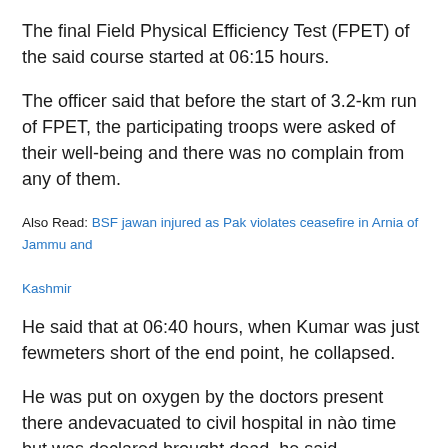The final Field Physical Efficiency Test (FPET) of the said course started at 06:15 hours.
The officer said that before the start of 3.2-km run of FPET, the participating troops were asked of their well-being and there was no complain from any of them.
Also Read: BSF jawan injured as Pak violates ceasefire in Arnia of Jammu and Kashmir
He said that at 06:40 hours, when Kumar was just fewmeters short of the end point, he collapsed.
He was put on oxygen by the doctors present there andevacuated to civil hospital in no time but was declared brought dead, he said.
"The individual was medically fit and never complainedduring eight-week period of training," the officer said.